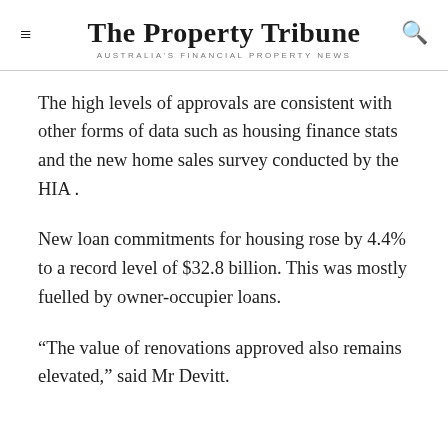The Property Tribune
AUSTRALIA'S FINANCIAL PROPERTY NEWS
The high levels of approvals are consistent with other forms of data such as housing finance stats and the new home sales survey conducted by the HIA .
New loan commitments for housing rose by 4.4% to a record level of $32.8 billion. This was mostly fuelled by owner-occupier loans.
“The value of renovations approved also remains elevated,” said Mr Devitt.